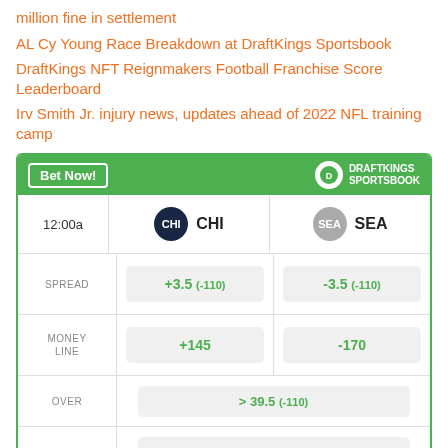million fine in settlement
AL Cy Young Race Breakdown at DraftKings Sportsbook
DraftKings NFT Reignmakers Football Franchise Score Leaderboard
Irv Smith Jr. injury news, updates ahead of 2022 NFL training camp
[Figure (other): DraftKings Sportsbook betting widget showing CHI vs SEA matchup at 12:00a with spread +3.5 (-110) / -3.5 (-110), money line +145 / -170, over/under > 39.5 (-110) / < 39.5 (-110)]